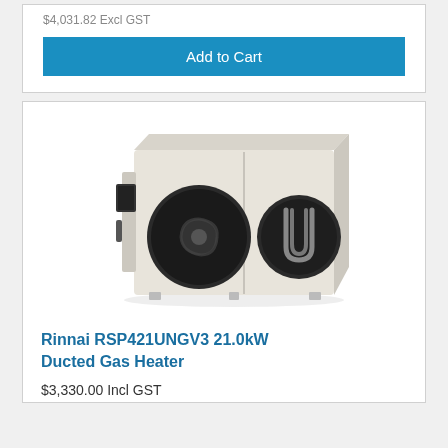$4,031.82 Excl GST
Add to Cart
[Figure (photo): Rinnai RSP421UNGV3 ducted gas heater unit, a rectangular beige/cream colored metal box with two large circular openings on the front face and control panel on the left side]
Rinnai RSP421UNGV3 21.0kW Ducted Gas Heater
$3,330.00 Incl GST